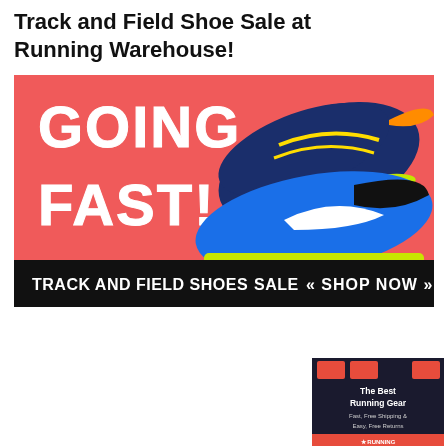Track and Field Shoe Sale at Running Warehouse!
[Figure (illustration): Promotional banner with coral/salmon background showing text 'GOING FAST!' in large white blocky letters and two track spikes shoes (Saucony and Nike), with a black bar at bottom reading 'TRACK AND FIELD SHOES SALE << SHOP NOW >>']
[Figure (illustration): Dark banner ad for Running Warehouse showing running shoes and text 'The Best Running Gear, Fast, Free Shipping & Easy, Free Returns' with Running Warehouse logo at bottom]